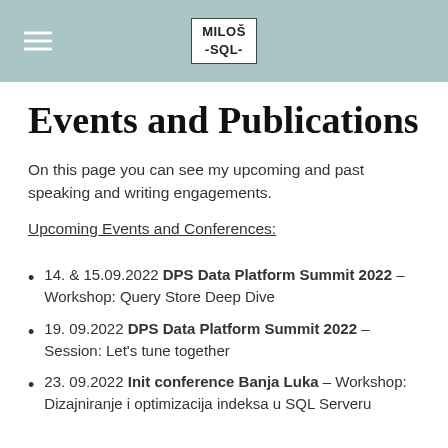MILOŠ -SQL-
Events and Publications
On this page you can see my upcoming and past speaking and writing engagements.
Upcoming Events and Conferences:
14. & 15.09.2022 DPS Data Platform Summit 2022 – Workshop: Query Store Deep Dive
19. 09.2022 DPS Data Platform Summit 2022 – Session: Let's tune together
23. 09.2022 Init conference Banja Luka – Workshop: Dizajniranje i optimizacija indeksa u SQL Serveru